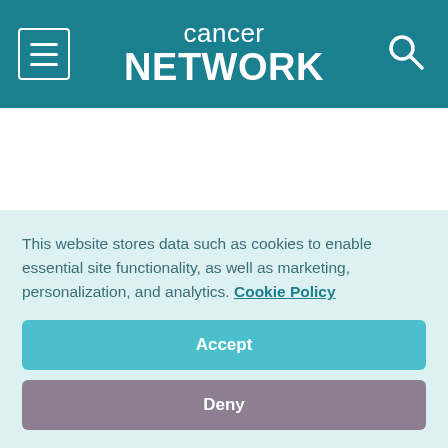cancer network
A risk scoring algorithm based on several risk factors was able to accurately predict chemotherapy-induced nausea and vomiting (CINV), according to a new study. The score could allow optimization of antiemetics in cancer patients
This website stores data such as cookies to enable essential site functionality, as well as marketing, personalization, and analytics. Cookie Policy
Accept
Deny